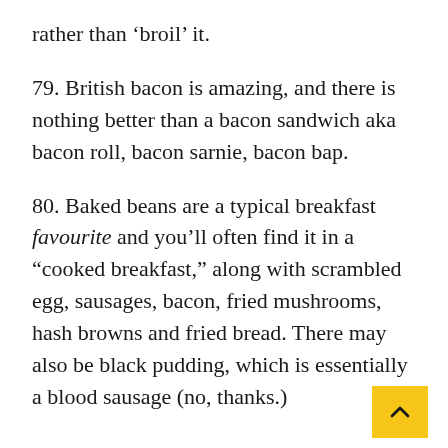rather than ‘broil’ it.
79. British bacon is amazing, and there is nothing better than a bacon sandwich aka bacon roll, bacon sarnie, bacon bap.
80. Baked beans are a typical breakfast favourite and you’ll often find it in a “cooked breakfast,” along with scrambled egg, sausages, bacon, fried mushrooms, hash browns and fried bread. There may also be black pudding, which is essentially a blood sausage (no, thanks.)